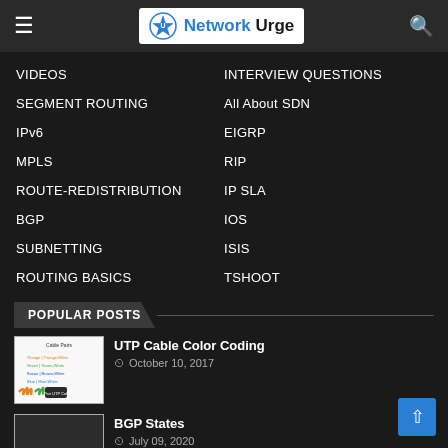Network Urge
VIDEOS
INTERVIEW QUESTIONS
SEGMENT ROUTING
All About SDN
IPv6
EIGRP
MPLS
RIP
ROUTE-REDISTRIBUTION
IP SLA
BGP
IOS
SUBNETTING
ISIS
ROUTING BASICS
TSHOOT
POPULAR POSTS
UTP Cable Color Coding
October 10, 2017
BGP States
July 09, 2020